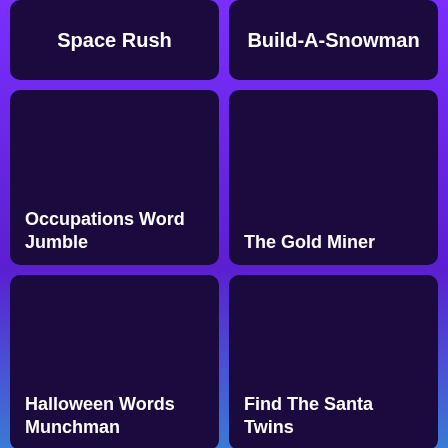Space Rush
Build-A-Snowman
Occupations Word Jumble
The Gold Miner
Halloween Words Munchman
Find The Santa Twins
Hazel and Mom's Recipes: Mashed...
Plumber Soda